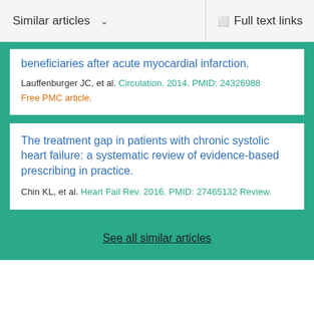Similar articles  ∨    Full text links
beneficiaries after acute myocardial infarction.
Lauffenburger JC, et al. Circulation. 2014. PMID: 24326988
Free PMC article.
The treatment gap in patients with chronic systolic heart failure: a systematic review of evidence-based prescribing in practice.
Chin KL, et al. Heart Fail Rev. 2016. PMID: 27465132 Review.
See all similar articles
Cited by